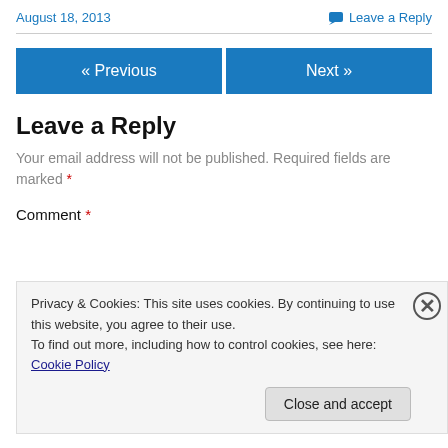August 18, 2013
Leave a Reply
« Previous
Next »
Leave a Reply
Your email address will not be published. Required fields are marked *
Comment *
Privacy & Cookies: This site uses cookies. By continuing to use this website, you agree to their use. To find out more, including how to control cookies, see here: Cookie Policy
Close and accept